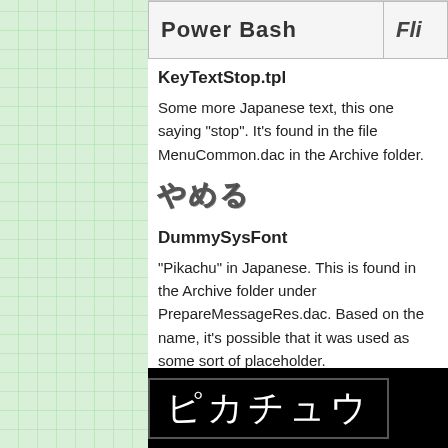| Power Bash | Fli... |
| --- | --- |
KeyTextStop.tpl
Some more Japanese text, this one saying "stop". It's found in the file MenuCommon.dac in the Archive folder.
[Figure (other): Japanese text やめる (stop) rendered in a bold outlined/shadowed font style]
DummySysFont
"Pikachu" in Japanese. This is found in the Archive folder under PrepareMessageRes.dac. Based on the name, it's possible that it was used as some sort of placeholder.
[Figure (other): Japanese katakana ピカチュウ (Pikachu) displayed in white text on a black background, pixel/system font style]